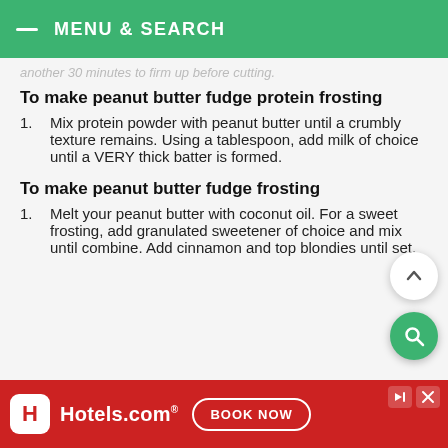MENU & SEARCH
another 30 minutes to firm up before cutting.
To make peanut butter fudge protein frosting
Mix protein powder with peanut butter until a crumbly texture remains. Using a tablespoon, add milk of choice until a VERY thick batter is formed.
To make peanut butter fudge frosting
Melt your peanut butter with coconut oil. For a sweet frosting, add granulated sweetener of choice and mix until combine. Add cinnamon and top blondies until set.
[Figure (screenshot): Hotels.com advertisement banner with red background, H logo, Hotels.com text, and BOOK NOW button]